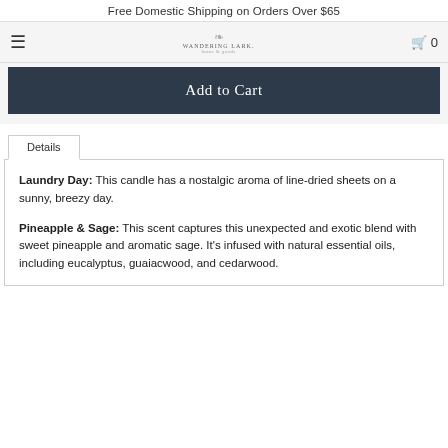Free Domestic Shipping on Orders Over $65
[Figure (logo): Wandering Lark logo with leaf illustration and brand name]
[Figure (screenshot): Add to Cart button on dark navy background]
Details
Laundry Day: This candle has a nostalgic aroma of line-dried sheets on a sunny, breezy day.
Pineapple & Sage: This scent captures this unexpected and exotic blend with sweet pineapple and aromatic sage. It's infused with natural essential oils, including eucalyptus, guaiacwood, and cedarwood.